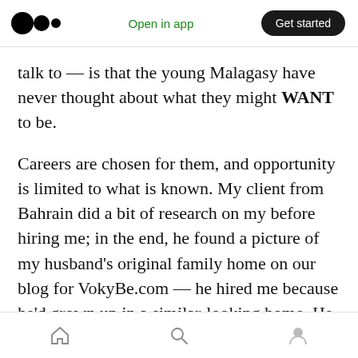Medium logo | Open in app | Get started
talk to — is that the young Malagasy have never thought about what they might WANT to be.
Careers are chosen for them, and opportunity is limited to what is known. My client from Bahrain did a bit of research on my before hiring me; in the end, he found a picture of my husband's original family home on our blog for VokyBe.com — he hired me because he'd grown up in a similar-looking home. He was also bridging the gap between poverty, scarcity, and rapidly evolving technology — his chosen field of work
Home | Search | Profile